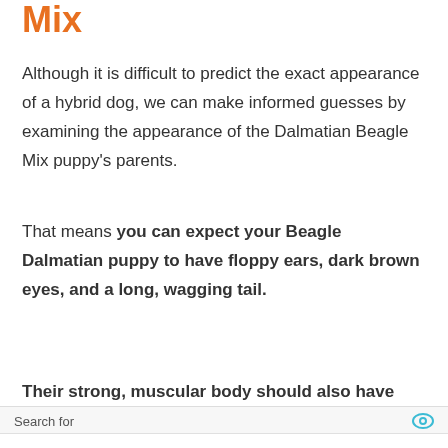Mix
Although it is difficult to predict the exact appearance of a hybrid dog, we can make informed guesses by examining the appearance of the Dalmatian Beagle Mix puppy's parents.
That means you can expect your Beagle Dalmatian puppy to have floppy ears, dark brown eyes, and a long, wagging tail.
Their strong, muscular body should also have
[Figure (screenshot): Advertisement overlay with 'Search for' label and eye icon, listing 1. WAYS TO STOP DOG BARKING and 2. HOW TO TRAIN YOUR DOG with chevron arrows]